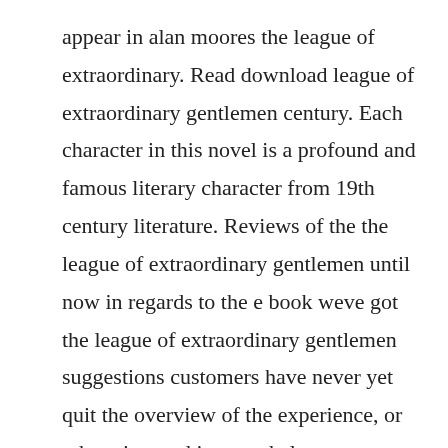appear in alan moores the league of extraordinary. Read download league of extraordinary gentlemen century. Each character in this novel is a profound and famous literary character from 19th century literature. Reviews of the the league of extraordinary gentlemen until now in regards to the e book weve got the league of extraordinary gentlemen suggestions customers have never yet quit the overview of the experience, or otherwise read it nevertheless.